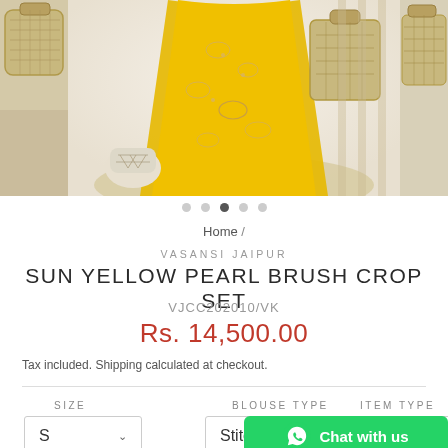[Figure (photo): Product photo showing a woman wearing a sun yellow embroidered lehenga/crop set, surrounded by wicker baskets and decor items. Three side-by-side panels: left partial basket, center main product photo, right partial basket view.]
Home /
VASANSI JAIPUR
SUN YELLOW PEARL BRUSH CROP SET
VJCC202010/VK
Rs. 14,500.00
Tax included. Shipping calculated at checkout.
SIZE
BLOUSE TYPE
ITEM TYPE
S ∨
Stitched ∨
Chat with us